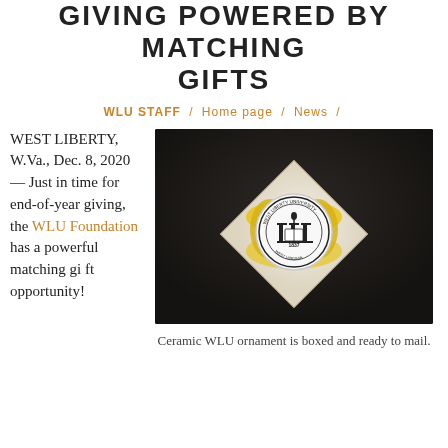GIVING POWERED BY MATCHING GIFTS
WLU STAFF / Home page / News /
WEST LIBERTY, W.Va., Dec. 8, 2020 — Just in time for end-of-year giving, the WLU Foundation has a powerful matching gift opportunity!
[Figure (photo): A ceramic West Liberty University ornament in a white gift box with yellow tissue paper. The ornament is round and white with the WLU seal showing columns, a torch, an open book, and the text 'WEST LIBERTY UNIVERSITY · 1837 · WEST VIRGINIA'.]
Ceramic WLU ornament is boxed and ready to mail.